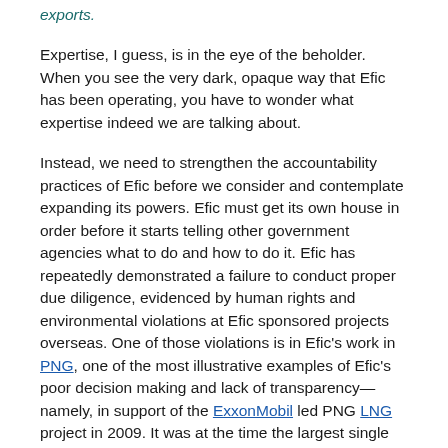exports.
Expertise, I guess, is in the eye of the beholder. When you see the very dark, opaque way that Efic has been operating, you have to wonder what expertise indeed we are talking about.
Instead, we need to strengthen the accountability practices of Efic before we consider and contemplate expanding its powers. Efic must get its own house in order before it starts telling other government agencies what to do and how to do it. Efic has repeatedly demonstrated a failure to conduct proper due diligence, evidenced by human rights and environmental violations at Efic sponsored projects overseas. One of those violations is in Efic's work in PNG, one of the most illustrative examples of Efic's poor decision making and lack of transparency—namely, in support of the ExxonMobil led PNG LNG project in 2009. It was at the time the largest single loan that Efic had given. Much of this transaction was done on the National Interest Account and was thus undertaken with the cooperation of DFAT. Nonetheless, it never could have happened without passing Efic's due diligence standards, which have clearly been found wanting.
In 2009, and again in 2012, Jubilee Australia found two major shortcomings of the project. Firstly, from a macroeconomic point of view, the expected financial impacts on the PNG economy were likely to be mixed, and poor governance in PNG meant that it was likely that this